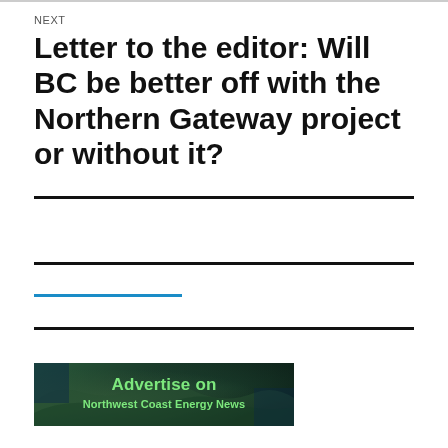NEXT
Letter to the editor: Will BC be better off with the Northern Gateway project or without it?
[Figure (illustration): Advertisement banner for Northwest Coast Energy News showing aerial/satellite map view of BC coast with green text overlay reading 'Advertise on Northwest Coast Energy News']